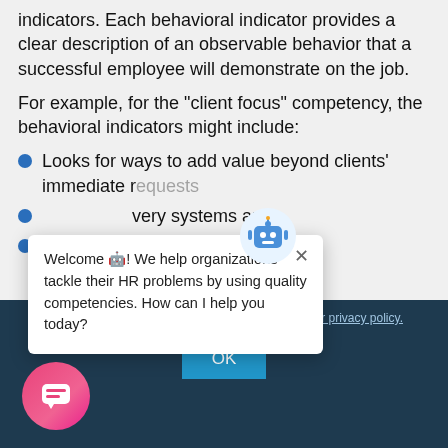indicators. Each behavioral indicator provides a clear description of an observable behavior that a successful employee will demonstrate on the job.
For example, for the "client focus" competency, the behavioral indicators might include:
Looks for ways to add value beyond clients' immediate requests
[partially obscured] very systems and
[partially obscured] g needs and concerns
[partially obscured] ach level of the
ou consent to For more information, please view our privacy policy.
[Figure (screenshot): Chat popup with robot icon. Text reads: Welcome! We help organizations tackle their HR problems by using quality competencies. How can I help you today? With a close X button.]
[Figure (screenshot): Pink/red circular chat button with speech bubble icon at bottom left.]